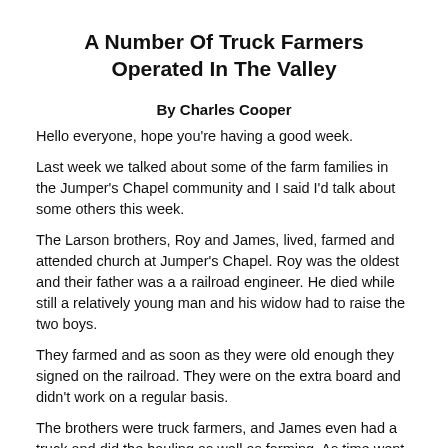A Number Of Truck Farmers Operated In The Valley
By Charles Cooper
Hello everyone, hope you're having a good week.
Last week we talked about some of the farm families in the Jumper's Chapel community and I said I'd talk about some others this week.
The Larson brothers, Roy and James, lived, farmed and attended church at Jumper's Chapel. Roy was the oldest and their father was a a railroad engineer. He died while still a relatively young man and his widow had to raise the two boys.
They farmed and as soon as they were old enough they signed on the railroad. They were on the extra board and  didn't work on a regular basis.
The brothers were truck farmers, and James even had a truck and did the hauling as well as farming. As time went on and railroad work picked up, they did less and less farming.
There was a small grocery store near the old Trusty hotel and it was